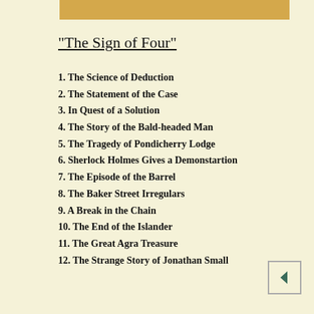[Figure (other): Decorative golden/tan horizontal bar at top of page]
"The Sign of Four"
1. The Science of Deduction
2. The Statement of the Case
3. In Quest of a Solution
4. The Story of the Bald-headed Man
5. The Tragedy of Pondicherry Lodge
6. Sherlock Holmes Gives a Demonstartion
7. The Episode of the Barrel
8. The Baker Street Irregulars
9. A Break in the Chain
10. The End of the Islander
11. The Great Agra Treasure
12. The Strange Story of Jonathan Small
[Figure (other): Navigation back arrow button in bottom right corner]